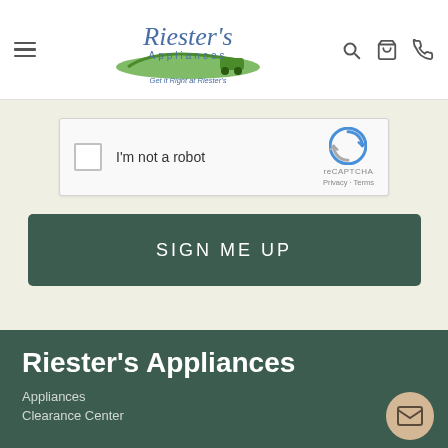Riester's Appliances — Get it Right at Riester's
[Figure (screenshot): reCAPTCHA widget with checkbox labeled 'I'm not a robot']
SIGN ME UP
Riester's Appliances
Appliances
Clearance Center